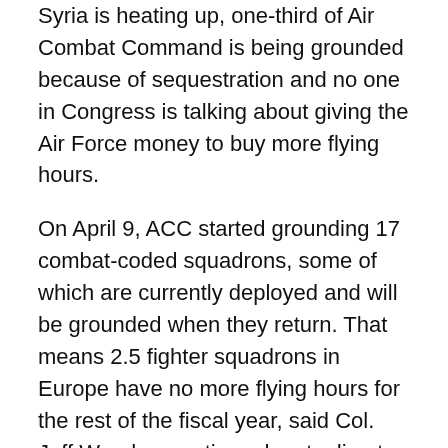Syria is heating up, one-third of Air Combat Command is being grounded because of sequestration and no one in Congress is talking about giving the Air Force money to buy more flying hours.
On April 9, ACC started grounding 17 combat-coded squadrons, some of which are currently deployed and will be grounded when they return. That means 2.5 fighter squadrons in Europe have no more flying hours for the rest of the fiscal year, said Col. Jeff Weed, operations deputy director for U.S. Air Forces in Europe and U.S. Air Forces in Africa.
“Consequently, this increases risk on what we ask of these pilots and crews in a ‘fight tonight’ situation,” Weed said in a May 1 email.
The situation became more precarious when the White